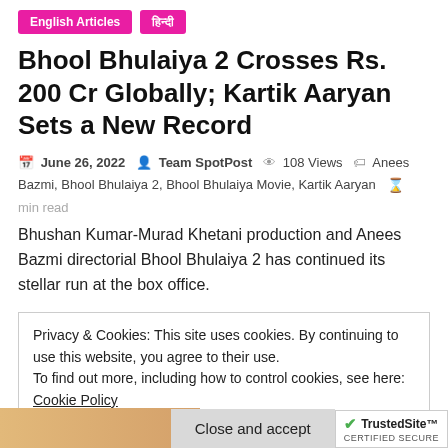English Articles
हिन्दी
Bhool Bhulaiya 2 Crosses Rs. 200 Cr Globally; Kartik Aaryan Sets a New Record
June 26, 2022  Team SpotPost  108 Views  Anees Bazmi, Bhool Bhulaiya 2, Bhool Bhulaiya Movie, Kartik Aaryan  min read
Bhushan Kumar-Murad Khetani production and Anees Bazmi directorial Bhool Bhulaiya 2 has continued its stellar run at the box office.
Privacy & Cookies: This site uses cookies. By continuing to use this website, you agree to their use.
To find out more, including how to control cookies, see here: Cookie Policy